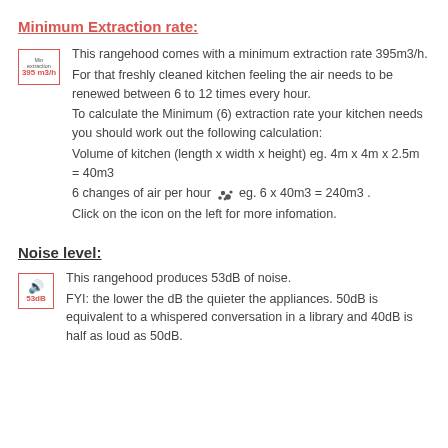Minimum Extraction rate:
[Figure (illustration): Small icon box with red border showing 'Min extraction 395 m3/h' label]
This rangehood comes with a minimum extraction rate 395m3/h. For that freshly cleaned kitchen feeling the air needs to be renewed between 6 to 12 times every hour. To calculate the Minimum (6) extraction rate your kitchen needs you should work out the following calculation: Volume of kitchen (length x width x height) eg. 4m x 4m x 2.5m = 40m3 6 changes of air per hour eg. 6 x 40m3 = 240m3 . Click on the icon on the left for more infomation.
Noise level:
[Figure (illustration): Small icon box with red border showing sound wave icon and '53dB' label]
This rangehood produces 53dB of noise. FYI: the lower the dB the quieter the appliances. 50dB is equivalent to a whispered conversation in a library and 40dB is half as loud as 50dB.